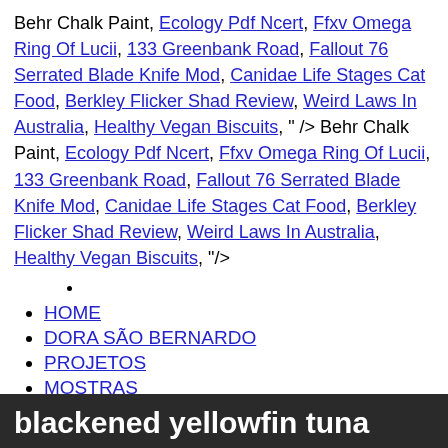Behr Chalk Paint, Ecology Pdf Ncert, Ffxv Omega Ring Of Lucii, 133 Greenbank Road, Fallout 76 Serrated Blade Knife Mod, Canidae Life Stages Cat Food, Berkley Flicker Shad Review, Weird Laws In Australia, Healthy Vegan Biscuits, " /> Behr Chalk Paint, Ecology Pdf Ncert, Ffxv Omega Ring Of Lucii, 133 Greenbank Road, Fallout 76 Serrated Blade Knife Mod, Canidae Life Stages Cat Food, Berkley Flicker Shad Review, Weird Laws In Australia, Healthy Vegan Biscuits, "/>
HOME
DORA SÃO BERNARDO
PROJETOS
MOSTRAS
CONTATO
Enter your search
blackened yellowfin tuna